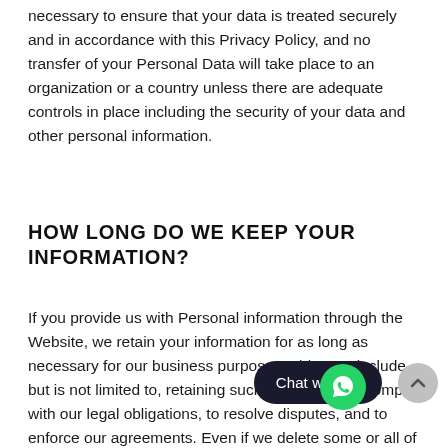necessary to ensure that your data is treated securely and in accordance with this Privacy Policy, and no transfer of your Personal Data will take place to an organization or a country unless there are adequate controls in place including the security of your data and other personal information.
HOW LONG DO WE KEEP YOUR INFORMATION?
If you provide us with Personal information through the Website, we retain your information for as long as necessary for our business purposes. This may include, but is not limited to, retaining such information to comply with our legal obligations, to resolve disputes, and to enforce our agreements. Even if we delete some or all of your personal information, we may continue to retain and use aggregate or anonymous data previously collected and/or anonymize or de-identify your personal information. Please note that we are not responsible for disclosures of your data due to errors or unauthorized acts of third parties.